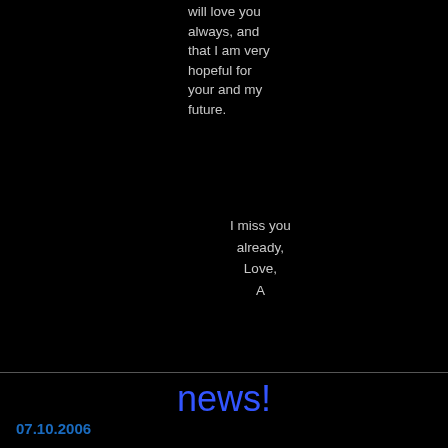will love you always, and that I am very hopeful for your and my future.
I miss you already,
Love,
A
news!
07.10.2006
[Figure (logo): The Indie Gathering film festival banner with film reel projector graphic and text 'The Indie Gathe...']
Orthogenesis wins 2nd Place in the Sci-Fi Short catego... Gathering! Stay tuned for information about the film screeni... 6th!
August 4-6, 2006, Cleveland, Ohio